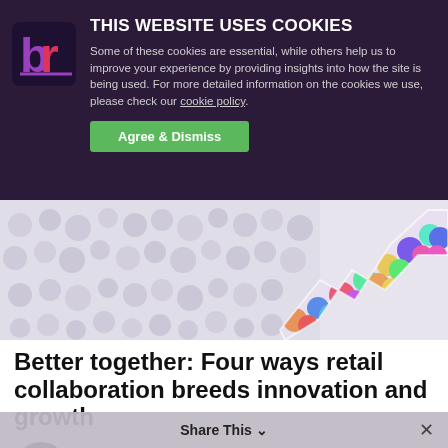[Figure (screenshot): Cookie consent banner with dark purple background, Bamboo Rose logo (br), title 'THIS WEBSITE USES COOKIES', descriptive text, cookie policy link, and green Agree & Dismiss button]
THIS WEBSITE USES COOKIES
Some of these cookies are essential, while others help us to improve your experience by providing insights into how the site is being used. For more detailed information on the cookies we use, please check our cookie policy.
[Figure (photo): Hero banner image showing a crowd of diverse people faces arranged in an upward trending arrow/zigzag chart shape against a light background]
Better together: Four ways retail collaboration breeds innovation and growth
By Bamboo Rose Retail Co-creation
05.17.
Share This  ×